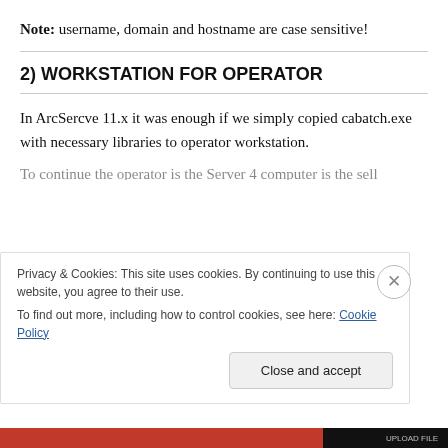Note: username, domain and hostname are case sensitive!
2) WORKSTATION FOR OPERATOR
In ArcSercve 11.x it was enough if we simply copied cabatch.exe with necessary libraries to operator workstation.
[Figure (other): Cookie consent banner overlay with text: 'Privacy & Cookies: This site uses cookies. By continuing to use this website, you agree to their use. To find out more, including how to control cookies, see here: Cookie Policy' and a 'Close and accept' button.]
[Figure (other): Bottom navigation/progress bar with red and black segments.]